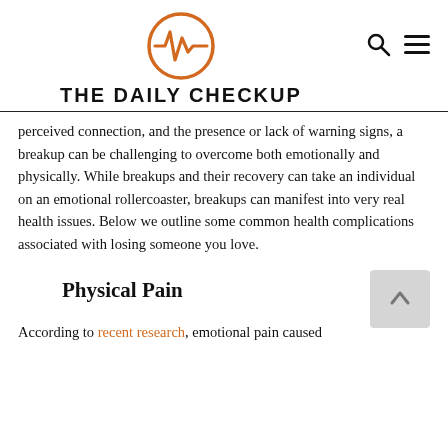THE DAILY CHECKUP
perceived connection, and the presence or lack of warning signs, a breakup can be challenging to overcome both emotionally and physically. While breakups and their recovery can take an individual on an emotional rollercoaster, breakups can manifest into very real health issues. Below we outline some common health complications associated with losing someone you love.
Physical Pain
According to recent research, emotional pain caused